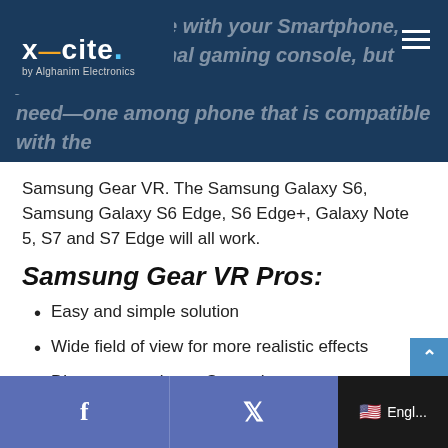VR is compatible with your Smartphone, your own personal gaming console, but you need—one among phone that is compatible with the
[Figure (logo): X-cite by Alghanim Electronics logo in white on dark blue background]
Samsung Gear VR. The Samsung Galaxy S6, Samsung Galaxy S6 Edge, S6 Edge+, Galaxy Note 5, S7 and S7 Edge will all work.
Samsung Gear VR Pros:
Easy and simple solution
Wide field of view for more realistic effects
Direct connection to Smartphone
Setup only takes a few minutes
Samsung Gear VR Cons:
f  🐦  Engl...